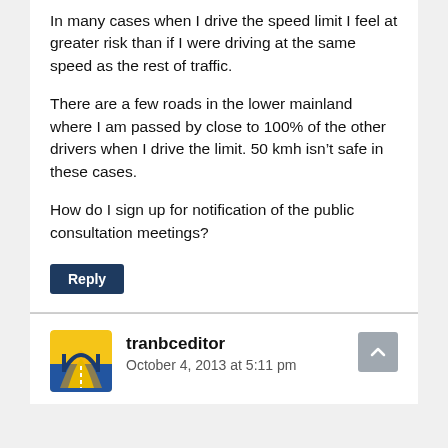In many cases when I drive the speed limit I feel at greater risk than if I were driving at the same speed as the rest of traffic.
There are a few roads in the lower mainland where I am passed by close to 100% of the other drivers when I drive the limit. 50 kmh isn't safe in these cases.
How do I sign up for notification of the public consultation meetings?
Reply
tranbceditor
October 4, 2013 at 5:11 pm